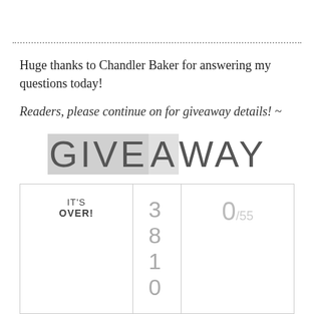Huge thanks to Chandler Baker for answering my questions today!
Readers, please continue on for giveaway details! ~
[Figure (other): GIVEAWAY text logo with stylized thin lettering, partial highlight/box behind first letters]
| IT'S OVER! | 3 8 1 0 | 0/55 |
| --- | --- | --- |
| Must be 13+ to Enter. |  |  |